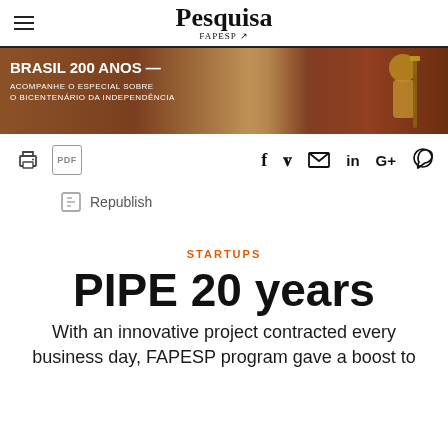Pesquisa FAPESP
[Figure (illustration): Banner for Brasil 200 Anos special feature with historical painting of a royal figure holding a staff, dark reddish-brown background. Text reads: BRASIL 200 ANOS — ACOMPANHE O ESPECIAL SOBRE O BICENTENÁRIO DA INDEPENDÊNCIA]
Republish
STARTUPS
PIPE 20 years
With an innovative project contracted every business day, FAPESP program gave a boost to